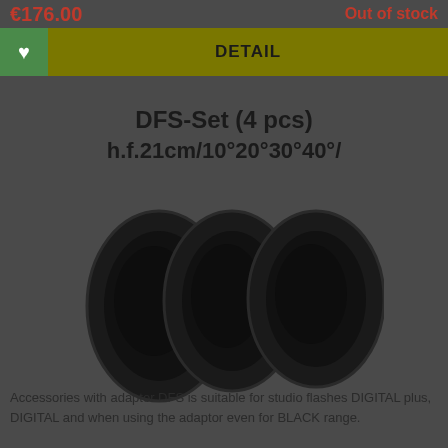€176.00   Out of stock
DETAIL
DFS-Set (4 pcs) h.f.21cm/10°20°30°40°/
[Figure (photo): Three black circular/oval disc-shaped accessories (DFS set) shown side by side on a dark gray background]
Accessories with adaptor DFS is suitable for studio flashes DIGITAL plus, DIGITAL and when using the adaptor even for BLACK range.